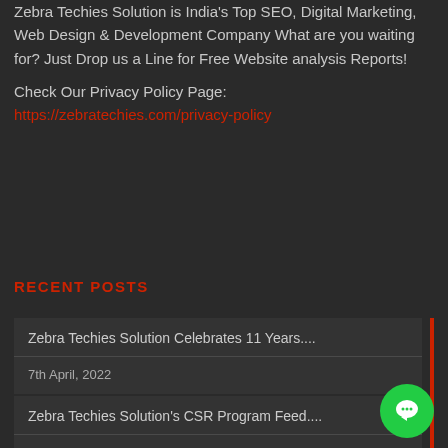Zebra Techies Solution is India's Top SEO, Digital Marketing, Web Design & Development Company What are you waiting for? Just Drop us a Line for Free Website analysis Reports!
Check Our Privacy Policy Page: https://zebratechies.com/privacy-policy
RECENT POSTS
Zebra Techies Solution Celebrates 11 Years.... 7th April, 2022
Zebra Techies Solution's CSR Program Feed.... 3rd April, 2022